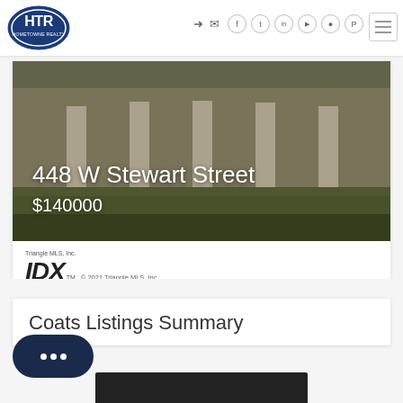[Figure (logo): HTR HomeTowne Realty logo - blue oval with white HTR letters]
Social media and navigation icons: login, mail, Facebook, Twitter, LinkedIn, YouTube, Instagram, Pinterest
[Figure (photo): Exterior photo of a house at 448 W Stewart Street showing white columns and porch structure with grass in foreground]
448 W Stewart Street
$140000
[Figure (logo): Triangle MLS, Inc. IDX logo with copyright 2021 Triangle MLS, Inc.]
Coats Listings Summary
[Figure (screenshot): Chat widget button with dark navy rounded rectangle and three dots]